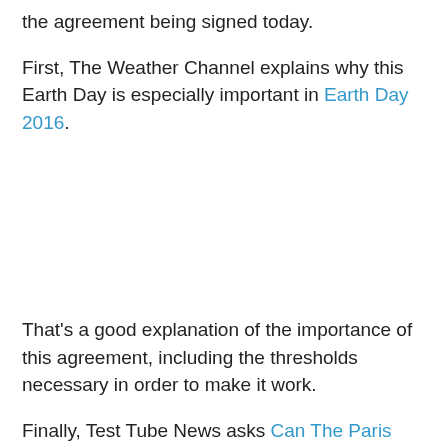the agreement being signed today.
First, The Weather Channel explains why this Earth Day is especially important in Earth Day 2016.
That's a good explanation of the importance of this agreement, including the thresholds necessary in order to make it work.
Finally, Test Tube News asks Can The Paris Agreement Actually Stop Global Warming?